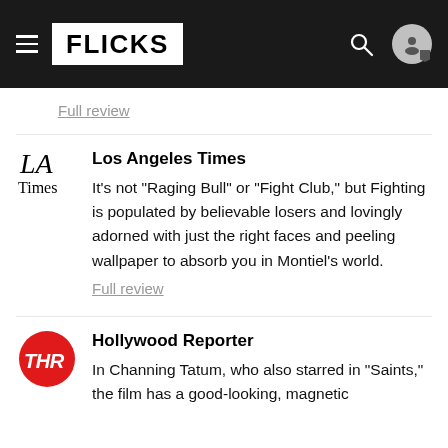FLICKS
Full review
Los Angeles Times
It's not "Raging Bull" or "Fight Club," but Fighting is populated by believable losers and lovingly adorned with just the right faces and peeling wallpaper to absorb you in Montiel's world.
Full review
Hollywood Reporter
In Channing Tatum, who also starred in "Saints," the film has a good-looking, magnetic